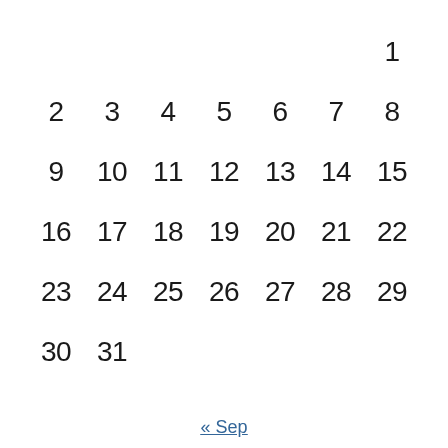| Sun | Mon | Tue | Wed | Thu | Fri | Sat |
| --- | --- | --- | --- | --- | --- | --- |
|  |  |  |  |  |  | 1 |
| 2 | 3 | 4 | 5 | 6 | 7 | 8 |
| 9 | 10 | 11 | 12 | 13 | 14 | 15 |
| 16 | 17 | 18 | 19 | 20 | 21 | 22 |
| 23 | 24 | 25 | 26 | 27 | 28 | 29 |
| 30 | 31 |  |  |  |  |  |
« Sep